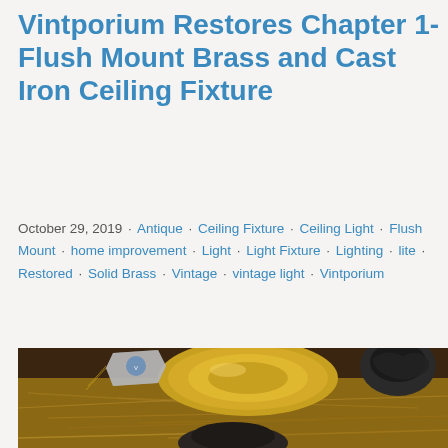Vintporium Restores Chapter 1- Flush Mount Brass and Cast Iron Ceiling Fixture
October 29, 2019 · Antique · Ceiling Fixture · Ceiling Light · Flush Mount · home improvement · Light · Light Fixture · Lighting · lite · Restored · Solid Brass · Vintage · vintage light · Vintporium
[Figure (photo): A brass and cast iron flush mount ceiling fixture resting in Spanish moss packing material inside a wooden box, with a Vintporium tag attached. The brass canopy and ornate cast iron decorative elements are visible.]